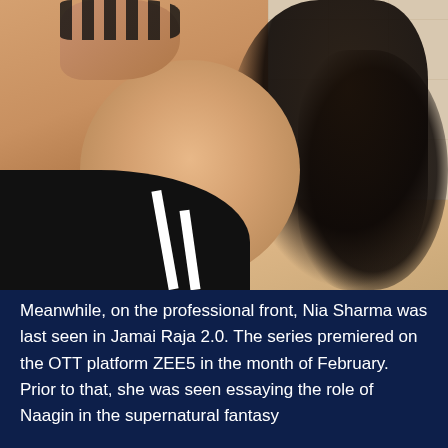[Figure (photo): Selfie photo of Nia Sharma, a woman with long dark hair, bright pink lipstick, dark nail polish, wearing a black and white striped top, posed with one hand raised near her head. Background shows white tiles.]
Meanwhile, on the professional front, Nia Sharma was last seen in Jamai Raja 2.0. The series premiered on the OTT platform ZEE5 in the month of February. Prior to that, she was seen essaying the role of Naagin in the supernatural fantasy...